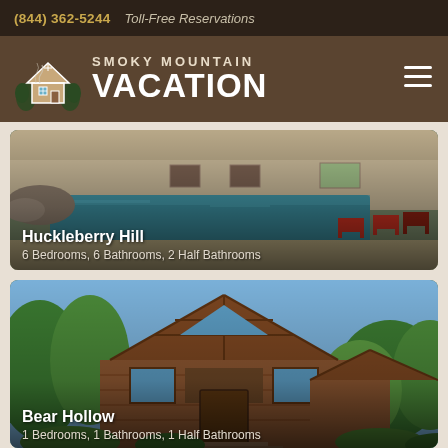(844) 362-5244   Toll-Free Reservations
[Figure (logo): Smoky Mountain Vacation logo with cabin icon and text]
[Figure (photo): Indoor pool with red Adirondack chairs — Huckleberry Hill cabin]
Huckleberry Hill
6 Bedrooms, 6 Bathrooms, 2 Half Bathrooms
[Figure (photo): Exterior of a log cabin with large A-frame — Bear Hollow]
Bear Hollow
1 Bedrooms, 1 Bathrooms, 1 Half Bathrooms